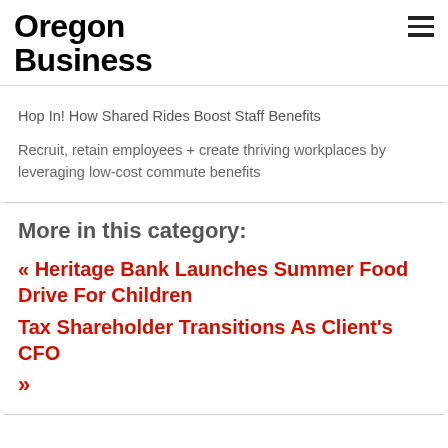Oregon Business
Hop In! How Shared Rides Boost Staff Benefits
Recruit, retain employees + create thriving workplaces by leveraging low-cost commute benefits
More in this category:
« Heritage Bank Launches Summer Food Drive For Children
Tax Shareholder Transitions As Client's CFO
»